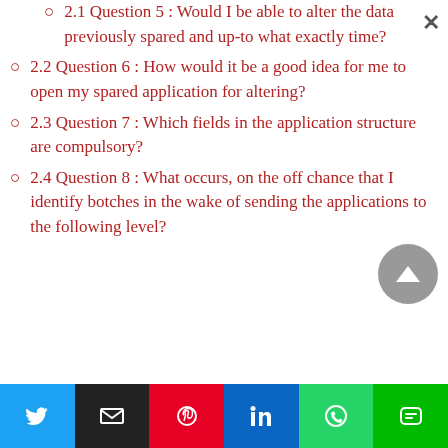2.1 Question 5 : Would I be able to alter the data previously spared and up-to what exactly time?
2.2 Question 6 : How would it be a good idea for me to open my spared application for altering?
2.3 Question 7 : Which fields in the application structure are compulsory?
2.4 Question 8 : What occurs, on the off chance that I identify botches in the wake of sending the applications to the following level?